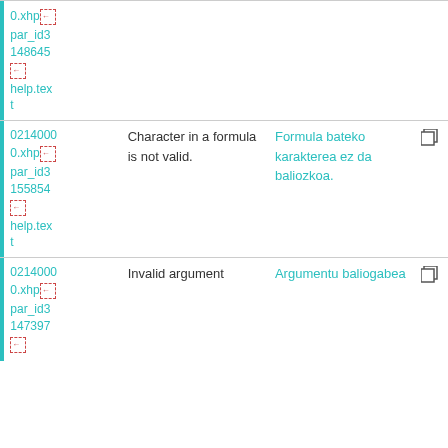| ID | English | Basque |  |
| --- | --- | --- | --- |
| 0214000 0.xhp par_id3 148645 [icon] help.text |  |  |  |
| 0214000 0.xhp par_id3 155854 [icon] help.text | Character in a formula is not valid. | Formula bateko karakterea ez da baliozkoa. |  |
| 0214000 0.xhp par_id3 147397 [icon] | Invalid argument | Argumentu baliogabea |  |